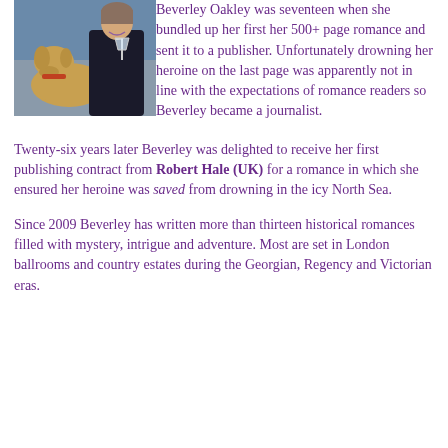[Figure (photo): Photo of Beverley Oakley, a woman in a black dress holding a champagne glass, with a golden dog beside her]
Beverley Oakley was seventeen when she bundled up her first her 500+ page romance and sent it to a publisher. Unfortunately drowning her heroine on the last page was apparently not in line with the expectations of romance readers so Beverley became a journalist.
Twenty-six years later Beverley was delighted to receive her first publishing contract from Robert Hale (UK) for a romance in which she ensured her heroine was saved from drowning in the icy North Sea.
Since 2009 Beverley has written more than thirteen historical romances filled with mystery, intrigue and adventure. Most are set in London ballrooms and country estates during the Georgian, Regency and Victorian eras.